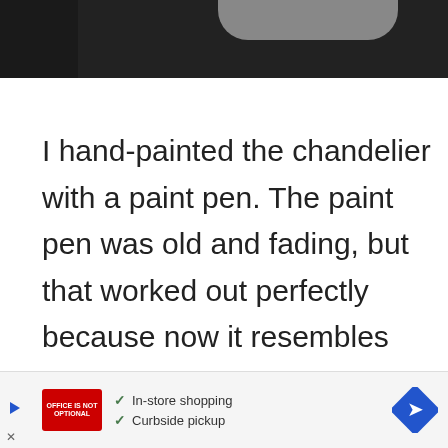[Figure (photo): Top portion of a chandelier photo, dark background with black and gray tones]
I hand-painted the chandelier with a paint pen. The paint pen was old and fading, but that worked out perfectly because now it resembles chalk even better.
[Figure (other): Advertisement banner: Office Depot logo, checkmarks for In-store shopping and Curbside pickup, blue diamond navigation arrow icon]